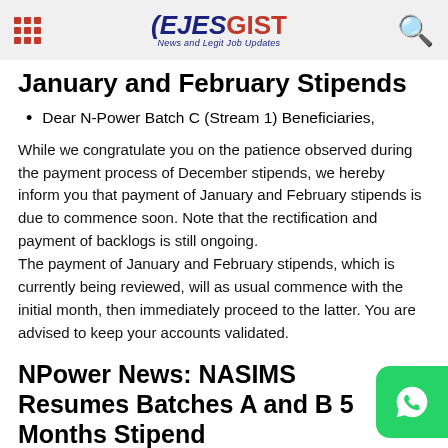EJESGIST News and Legit Job Updates
January and February Stipends
Dear N-Power Batch C (Stream 1) Beneficiaries,
While we congratulate you on the patience observed during the payment process of December stipends, we hereby inform you that payment of January and February stipends is due to commence soon. Note that the rectification and payment of backlogs is still ongoing.
The payment of January and February stipends, which is currently being reviewed, will as usual commence with the initial month, then immediately proceed to the latter. You are advised to keep your accounts validated.
NPower News: NASIMS Resumes Batches A and B 5 Months Stipend